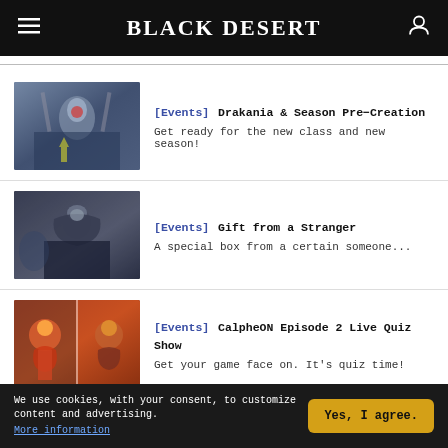Black Desert
[Figure (photo): Thumbnail image of Drakania character in armor with blue/grey tones]
[Events] Drakania & Season Pre-Creation
Get ready for the new class and new season!
[Figure (photo): Thumbnail image of a hooded stranger character in dark tones]
[Events] Gift from a Stranger
A special box from a certain someone...
[Figure (photo): Thumbnail image of CalpheON quiz show with colorful characters]
[Events] CalpheON Episode 2 Live Quiz Show
Get your game face on. It's quiz time!
We use cookies, with your consent, to customize content and advertising.
More information